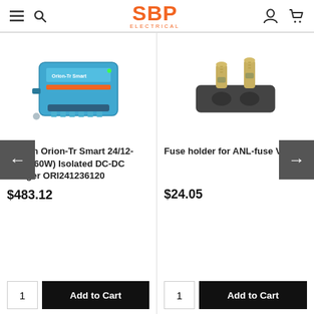SBP ELECTRICAL
[Figure (photo): Victron Orion-Tr Smart 24/12-30A blue DC-DC charger device]
Victron Orion-Tr Smart 24/12-30A (360W) Isolated DC-DC charger ORI241236120
$483.12
[Figure (photo): Fuse holder for ANL-fuse Victron, black plastic with metal terminals]
Fuse holder for ANL-fuse Victron
$24.05